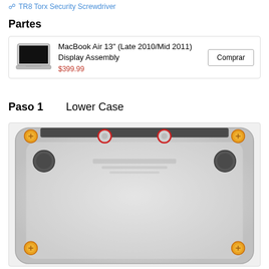TR8 Torx Security Screwdriver
Partes
| Image | Product | Action |
| --- | --- | --- |
| [image] | MacBook Air 13" (Late 2010/Mid 2011) Display Assembly
$399.99 | Comprar |
Paso 1   Lower Case
[Figure (photo): Bottom view of a MacBook Air showing screws highlighted in orange (4 corner screws and 2 additional screws near top edge) and two red-circled screws near the top center. A dark bar is visible at the top of the laptop bottom panel.]